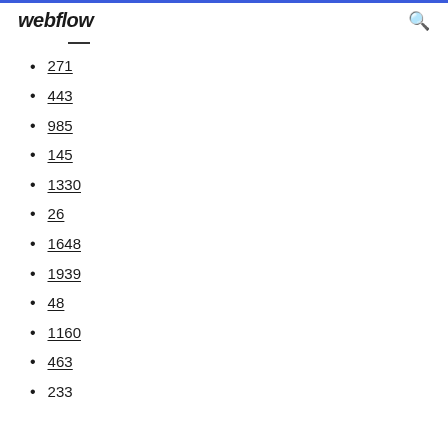webflow
271
443
985
145
1330
26
1648
1939
48
1160
463
233